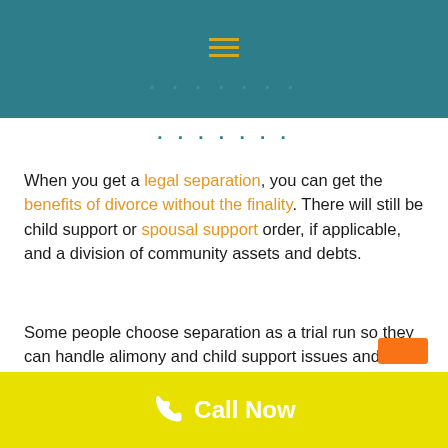[Figure (screenshot): Dark teal navigation bar with hamburger menu icon in gold/orange]
When you get a legal separation, you can get the benefits of divorce without the finality. There will still be child support or spousal support order, if applicable, and a division of community assets and debts.
Some people choose separation as a trial run so they can handle alimony and child support issues and then decide about the marriage later. Legal separation is right for some people but not everyone. If you are considering a legal separation you should consult with an experienced family law attorney to discuss all the ramifications of a legal separation.
Call Now